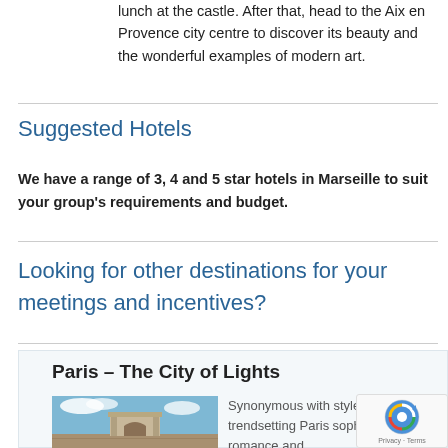lunch at the castle. After that, head to the Aix en Provence city centre to discover its beauty and the wonderful examples of modern art.
Suggested Hotels
We have a range of 3, 4 and 5 star hotels in Marseille to suit your group's requirements and budget.
Looking for other destinations for your meetings and incentives?
Paris – The City of Lights
[Figure (photo): Arc de Triomphe in Paris against a blue sky with clouds]
Synonymous with style and fashion, trendsetting Paris sophistication, romance and